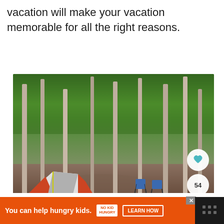vacation will make your vacation memorable for all the right reasons.
[Figure (photo): A camping scene in a forest with a grey and orange tent in the foreground, birch trees throughout, two blue camping chairs in the middle ground, and a dirt path. Social sharing buttons (heart, count 54, share) are overlaid on the right side. A 'What's Next' thumbnail card appears in the bottom right corner showing 'The Best Cape Breton...']
Read Next: The Best Camping on
You can help hungry kids.  NO KID HUNGRY  LEARN HOW